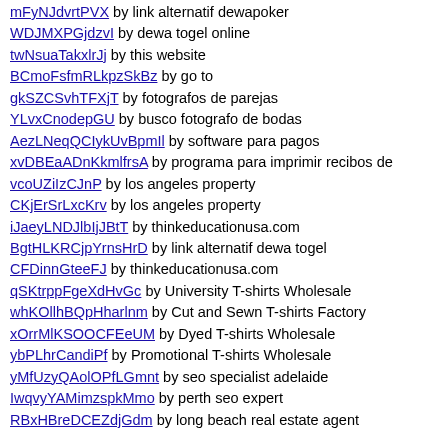mFyNJdvrtPVX by link alternatif dewapoker
WDJMXPGjdzvI by dewa togel online
twNsuaTakxlrJj by this website
BCmoFsfmRLkpzSkBz by go to
gkSZCSvhTFXjT by fotografos de parejas
YLvxCnodepGU by busco fotografo de bodas
AezLNeqQCIykUvBpmIl by software para pagos
xvDBEaADnKkmlfrsA by programa para imprimir recibos de
vcoUZiIzCJnP by los angeles property
CKjErSrLxcKrv by los angeles property
iJaeyLNDJlbIjJBtT by thinkeducationusa.com
BgtHLKRCjpYrnsHrD by link alternatif dewa togel
CFDinnGteeFJ by thinkeducationusa.com
qSKtrppFgeXdHvGc by University T-shirts Wholesale
whKOllhBQpHharlnm by Cut and Sewn T-shirts Factory
xOrrMlKSOOCFEeUM by Dyed T-shirts Wholesale
ybPLhrCandiPf by Promotional T-shirts Wholesale
yMfUzyQAolOPfLGmnt by seo specialist adelaide
IwqvyYAMimzspkMmo by perth seo expert
RBxHBreDCEZdjGdm by long beach real estate agent